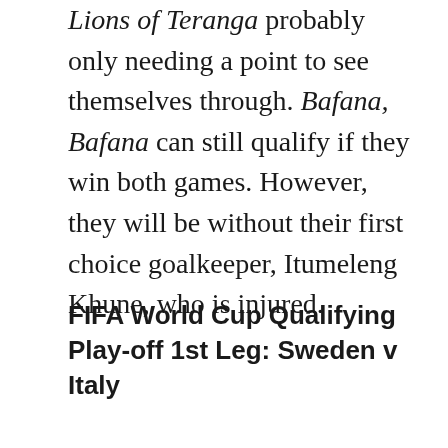Lions of Teranga probably only needing a point to see themselves through. Bafana, Bafana can still qualify if they win both games. However, they will be without their first choice goalkeeper, Itumeleng Khune, who is injured.
FIFA World Cup Qualifying Play-off 1st Leg: Sweden v Italy